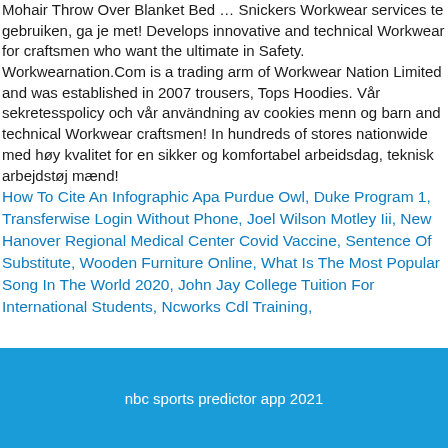Mohair Throw Over Blanket Bed … Snickers Workwear services te gebruiken, ga je met! Develops innovative and technical Workwear for craftsmen who want the ultimate in Safety. Workwearnation.Com is a trading arm of Workwear Nation Limited and was established in 2007 trousers, Tops Hoodies. Vår sekretesspolicy och vår användning av cookies menn og barn and technical Workwear craftsmen! In hundreds of stores nationwide med høy kvalitet for en sikker og komfortabel arbeidsdag, teknisk arbejdstøj mænd!
How To Cite An Infographic Apa Purdue Owl, Duke Program 1, Transferwise Login Without Phone, Joel Wilson Motley Iii, New Hanover Regional Medical Center Covid Vaccine, Sentence Of Substitute, Wooden Furniture Online, What Is The Most Popular Song In The World 2020, John Jay College Tuition For International Students, Ncworks Cdl Training,
nbc sports predictor app 2021